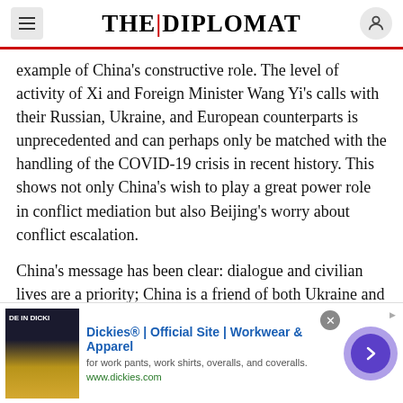THE | DIPLOMAT
example of China’s constructive role. The level of activity of Xi and Foreign Minister Wang Yi’s calls with their Russian, Ukraine, and European counterparts is unprecedented and can perhaps only be matched with the handling of the COVID-19 crisis in recent history. This shows not only China’s wish to play a great power role in conflict mediation but also Beijing’s worry about conflict escalation.
China’s message has been clear: dialogue and civilian lives are a priority; China is a friend of both Ukraine and Russia and will not pick a side; and all [parties must...]
[Figure (other): Advertisement banner for Dickies Official Site - Workwear & Apparel. Shows Dickies product image on left, ad text in center, and navigation arrow on right.]